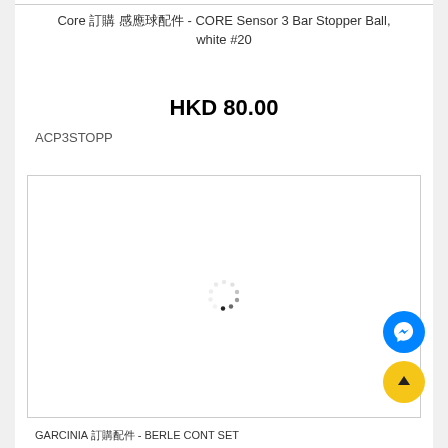Core 訂購 感應球配件 - CORE Sensor 3 Bar Stopper Ball, white #20
HKD 80.00
ACP3STOPP
[Figure (photo): Loading spinner / placeholder image area with a spinner animation in the center]
GARCINIA 訂購配件 - BERLE CONT SET